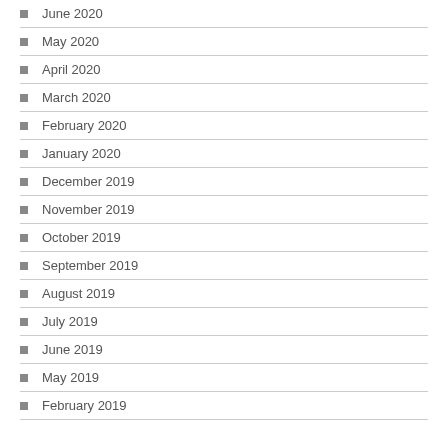June 2020
May 2020
April 2020
March 2020
February 2020
January 2020
December 2019
November 2019
October 2019
September 2019
August 2019
July 2019
June 2019
May 2019
February 2019